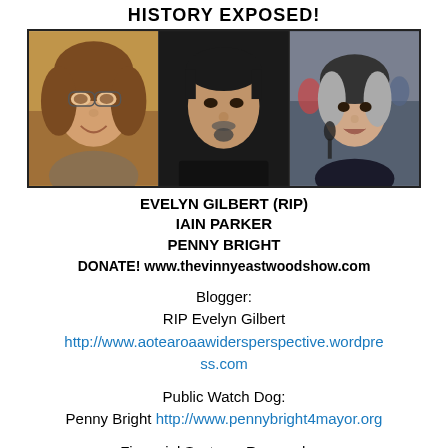HISTORY EXPOSED!
[Figure (photo): Three photos side by side: Evelyn Gilbert (smiling woman with glasses), Iain Parker (man with goatee), Penny Bright (older woman with grey hair at a public event)]
EVELYN GILBERT (RIP)
IAIN PARKER
PENNY BRIGHT
DONATE! www.thevinnyeastwoodshow.com
Blogger:
RIP Evelyn Gilbert
http://www.aotearoaawidersperspective.wordpress.com
Public Watch Dog:
Penny Bright http://www.pennybright4mayor.org
Financial Systems Researcher: